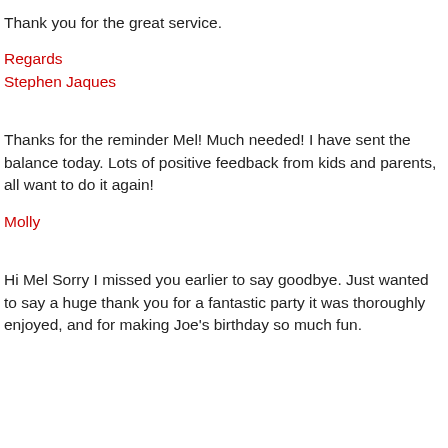Thank you for the great service.
Regards
Stephen Jaques
Thanks for the reminder Mel! Much needed! I have sent the balance today. Lots of positive feedback from kids and parents, all want to do it again!
Molly
Hi Mel Sorry I missed you earlier to say goodbye. Just wanted to say a huge thank you for a fantastic party it was thoroughly enjoyed, and for making Joe's birthday so much fun.